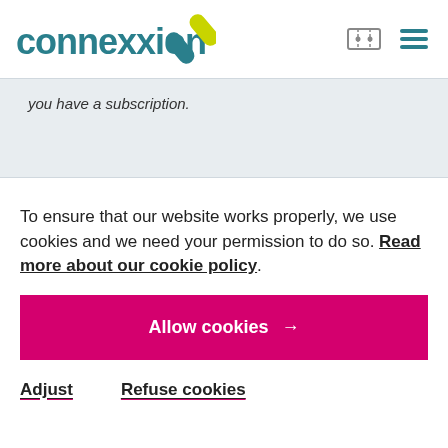[Figure (logo): Connexxion logo with teal text and yellow-green cross/bandage icon]
you have a subscription.
To ensure that our website works properly, we use cookies and we need your permission to do so. Read more about our cookie policy.
Allow cookies →
Adjust   Refuse cookies